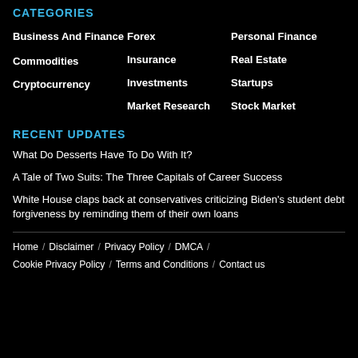CATEGORIES
Business And Finance
Commodities
Cryptocurrency
Forex
Insurance
Investments
Market Research
Personal Finance
Real Estate
Startups
Stock Market
RECENT UPDATES
What Do Desserts Have To Do With It?
A Tale of Two Suits: The Three Capitals of Career Success
White House claps back at conservatives criticizing Biden’s student debt forgiveness by reminding them of their own loans
Home / Disclaimer / Privacy Policy / DMCA / Cookie Privacy Policy / Terms and Conditions / Contact us